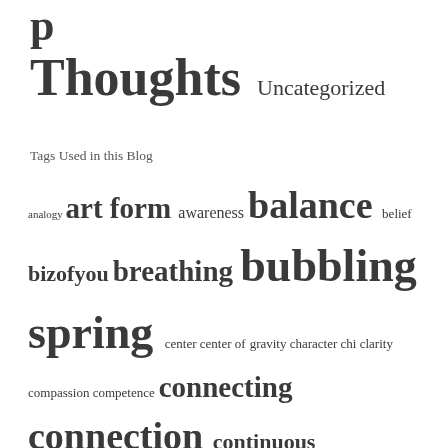Thoughts Uncategorized
Tags Used in this Blog
analogy art form awareness balance belief bizofyou breathing bubbling spring center center of gravity character chi clarity compassion competence connecting connection continuous improvement cultivation dan-yu details efficient emerge energy external Eye see hand do feeling flow focus form forms foundation good form group health honesty iceberg ideas integrated intent interaction